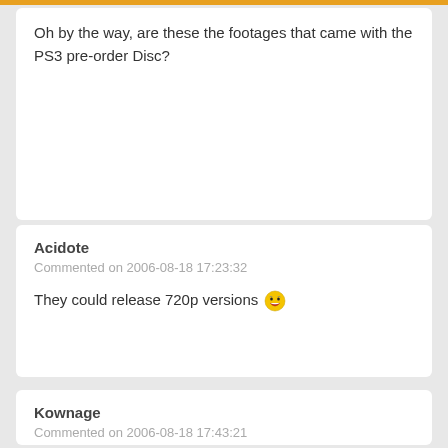Oh by the way, are these the footages that came with the PS3 pre-order Disc?
Acidote
Commented on 2006-08-18 17:23:32
They could release 720p versions 😆
Kownage
Commented on 2006-08-18 17:43:21
They are right there (1280 x 720) .